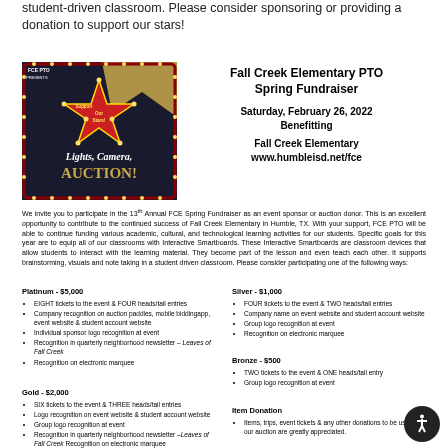student-driven classroom. Please consider sponsoring or providing a donation to support our stars!
[Figure (illustration): FCE PTO Presents event poster with red star marquee lights reading 'Support Our Stars!' and 'Lights, Camera, Auction!' text on dark background with gold accents]
Fall Creek Elementary PTO Spring Fundraiser
Saturday, February 26, 2022
Benefitting
Fall Creek Elementary
www.humbleisd.net/fce
We invite you to participate in the 13th Annual FCE Spring Fundraiser as an event sponsor or auction donor. This is an excellent opportunity to contribute to the continued success of Fall Creek Elementary in Humble, TX. With your support, FCE PTO will be able to continue funding various academic, cultural, and technological learning activities for our students. Specific goals for this year are to equip all of our classrooms with Interactive Smartboards. These Interactive Smartboards are classroom devices that allow students to interact with the learning material. They become part of the lesson and even teach each other. It supports brainstorming, visuals and note taking in a student driven classroom. Please consider participating one of the following ways:
Platinum - $5,000
EIGHT tickets to the event & FOUR heads/tail entries
Company recognition on auction paddles, mobile biddingapp, event website & student account website
Individual sponsor logo recognition at event
Recognition in quarterly neighborhood newsletter – Leaves of Fall Creek
Recognition on electronic marquee
Silver - $1,000
FOUR tickets to the event & TWO heads/tail entries
Company name on event website and student account website
Group logo recognition at event
Recognition on electronic marquee
Gold - $2,000
SIX tickets to the event & THREE heads/tail entries
Logo recognition on event website & student account website
Group logo recognition at event
Recognition in quarterly neighborhood newsletter –Leaves of Fall Creek Recognition on electronic marquee
Bronze - $500
TWO tickets to the event & ONE heads/tail entry
Group logo recognition at event
Item Donation
Items, trips, event tickets & any other donations to be used in our auction are greatly appreciated.